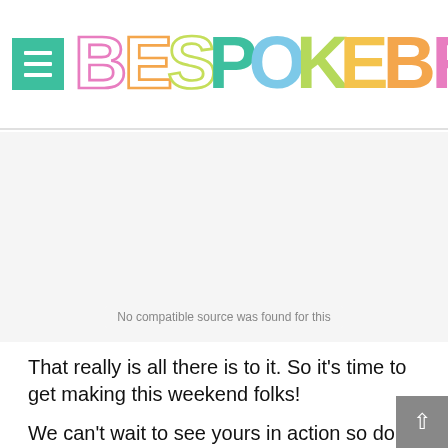[Figure (logo): Bespoke Bride logo with colorful letters, hamburger menu icon on left, search icon on right]
[Figure (screenshot): Gray empty video area with 'No compatible source was found for this' overlay text]
That really is all there is to it. So it's time to get making this weekend folks!
We can't wait to see yours in action so don't forget to use #bespokebrideDIY on Instagram